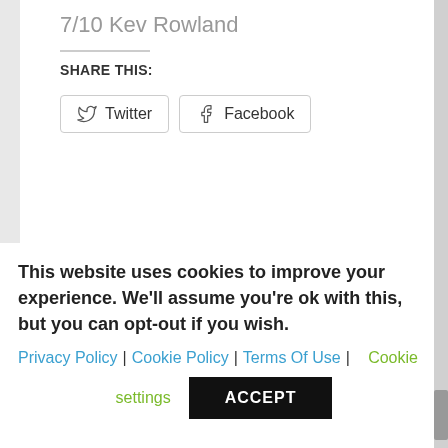7/10 Kev Rowland
SHARE THIS:
[Figure (screenshot): Twitter and Facebook share buttons with rounded-rectangle borders]
SHARE:
[Figure (infographic): Row of 9 social media share icon buttons (Facebook, Twitter, Google+, Tumblr, Pinterest, LinkedIn, and others) in gray rounded squares]
This website uses cookies to improve your experience. We'll assume you're ok with this, but you can opt-out if you wish.
Privacy Policy | Cookie Policy | Terms Of Use | Cookie settings
ACCEPT